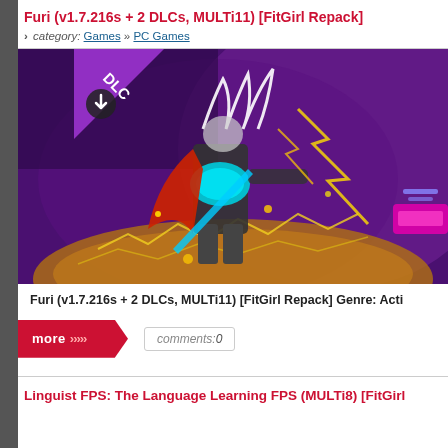Furi (v1.7.216s + 2 DLCs, MULTi11) [FitGirl Repack]
category: Games » PC Games
[Figure (screenshot): Game artwork for Furi showing a warrior character with lightning effects, with a purple DLC badge overlay in the top-left corner]
Furi (v1.7.216s + 2 DLCs, MULTi11) [FitGirl Repack] Genre: Acti
more comments: 0
Linguist FPS: The Language Learning FPS (MULTi8) [FitGirl